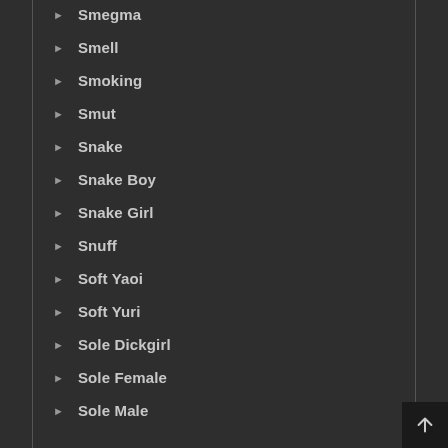Smegma
Smell
Smoking
Smut
Snake
Snake Boy
Snake Girl
Snuff
Soft Yaoi
Soft Yuri
Sole Dickgirl
Sole Female
Sole Male